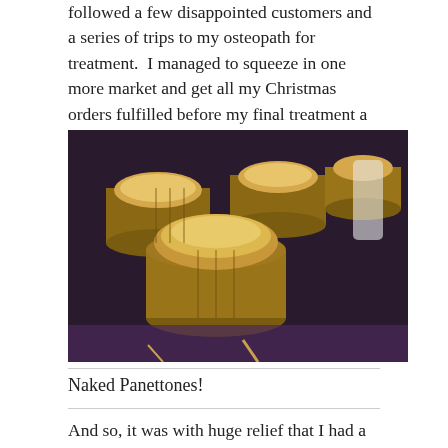followed a few disappointed customers and a series of trips to my osteopath for treatment.  I managed to squeeze in one more market and get all my Christmas orders fulfilled before my final treatment a couple of days before Yuletide.
[Figure (photo): Several round panettone cakes in brown paper baking molds arranged on a surface, viewed from above and at an angle, showing their golden domed tops.]
Naked Panettones!
And so, it was with huge relief that I had a brilliant end of